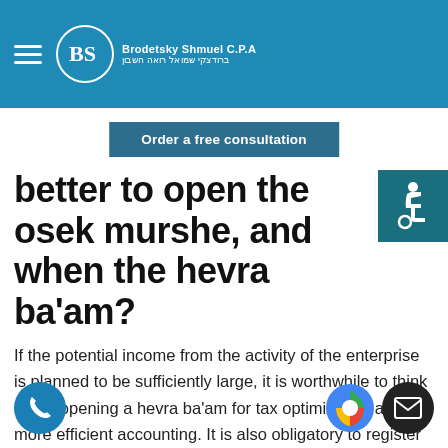Brodetsky Shmuel C.P.A | ברודצקי שמואל רואה חשבון
Order a free consultation
better to open the osek murshe, and when the hevra ba'am?
If the potential income from the activity of the enterprise is planned to be sufficiently large, it is worthwhile to think about opening a hevra ba'am for tax optimization and more efficient accounting. It is also obligatory to register kind of activity if several people act as the